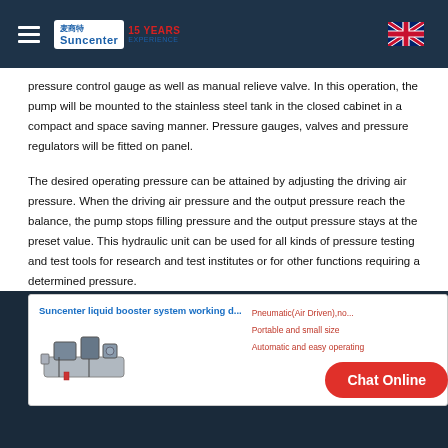Suncenter 15 Years Experience
pressure control gauge as well as manual relieve valve. In this operation, the pump will be mounted to the stainless steel tank in the closed cabinet in a compact and space saving manner. Pressure gauges, valves and pressure regulators will be fitted on panel.
The desired operating pressure can be attained by adjusting the driving air pressure. When the driving air pressure and the output pressure reach the balance, the pump stops filling pressure and the output pressure stays at the preset value. This hydraulic unit can be used for all kinds of pressure testing and test tools for research and test institutes or for other functions requiring a determined pressure.
[Figure (illustration): Suncenter liquid booster system working diagram with machine image and bullet points: Pneumatic(Air Driven), no..., Portable and small size, Automatic and easy operating]
Chat Online